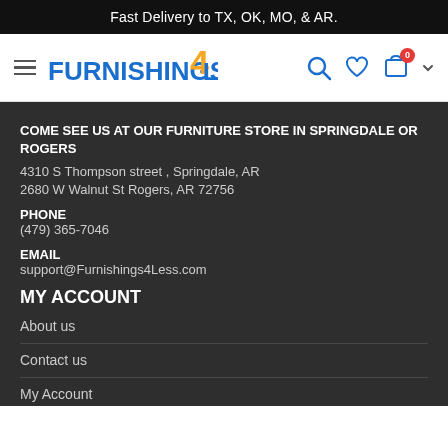Fast Delivery to TX, OK, MO, & AR.
[Figure (logo): Furnishings 4 Less logo with hamburger menu icon and navigation icons (search, heart, cart with 0 badge)]
COME SEE US AT OUR FURNITURE STORE IN SPRINGDALE OR ROGERS
4310 S Thompson street , Springdale, AR
2680 W Walnut St Rogers, AR 72756
PHONE
(479) 365-7046
EMAIL
support@Furnishings4Less.com
MY ACCOUNT
About us
Contact us
My Account
Order history
Advanced search